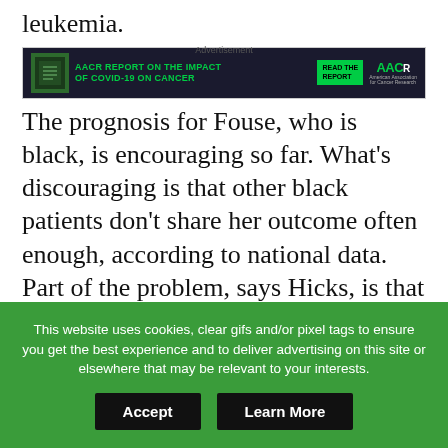leukemia.
[Figure (other): AACR advertisement banner: 'AACR Report on the Impact of COVID-19 on Cancer' with Read The Report button and AACR logo]
The prognosis for Fouse, who is black, is encouraging so far. What’s discouraging is that other black patients don’t share her outcome often enough, according to national data. Part of the problem, says Hicks, is that not all patients are provided the best medical options, including information about clinical trials, and walked through the complexities of each option. A series of recent studies adds to the growing evidence that stubborn survival differences between black patients and white patients stem from more than differences in biology or delays in diagnosis: For
This website uses cookies, clear gifs and/or pixel tags to ensure you get the best experience and to deliver advertising on this site or elsewhere that may be relevant to your interests.